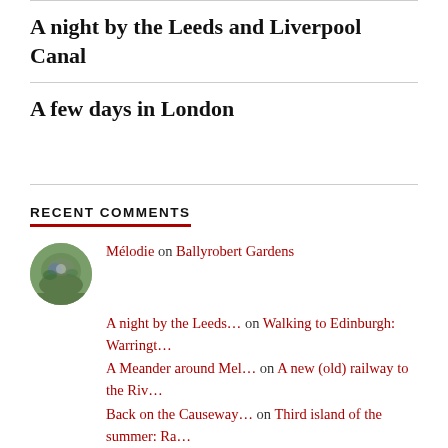A night by the Leeds and Liverpool Canal
A few days in London
RECENT COMMENTS
Mélodie on Ballyrobert Gardens
A night by the Leeds… on Walking to Edinburgh: Warringt…
A Meander around Mel… on A new (old) railway to the Riv…
Back on the Causeway… on Third island of the summer: Ra…